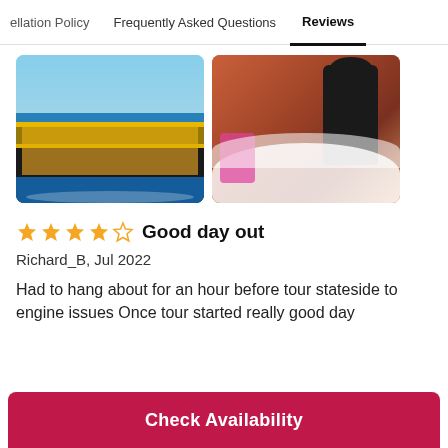ellation Policy   Frequently Asked Questions   Reviews
[Figure (photo): A pirate-style ship on the ocean with yellow railings and people aboard]
[Figure (photo): People playing in foam/bubbles at a foam party, one person in a black swimsuit visible from behind]
★★★★☆  Good day out
Richard_B, Jul 2022
Had to hang about for an hour before tour stateside to engine issues Once tour started really good day
Check Availability